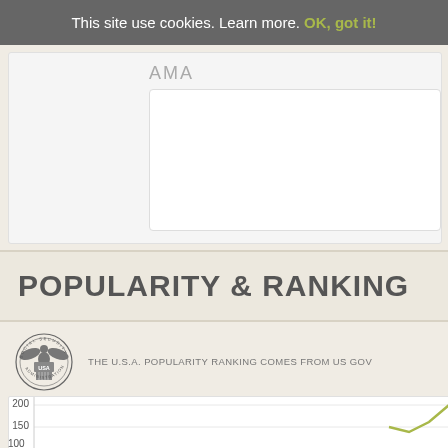This site use cookies. Learn more. OK, got it!
AMA
POPULARITY & RANKING
THE U.S.A. POPULARITY RANKING COMES FROM US GOV
[Figure (continuous-plot): Partial line chart showing popularity ranking over time, y-axis visible with values 100, 150, 200]